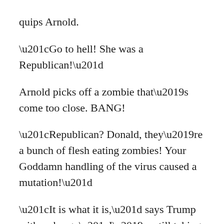quips Arnold.
“Go to hell! She was a Republican!”
Arnold picks off a zombie that’s come too close. BANG!
“Republican? Donald, they’re a bunch of flesh eating zombies! Your Goddamn handling of the virus caused a mutation!”
“It is what it is,” says Trump with a shrug. “I’m still taking you court where Neil and Brett owed me!”
“Look at the Supreme Court. They’re insane! They got